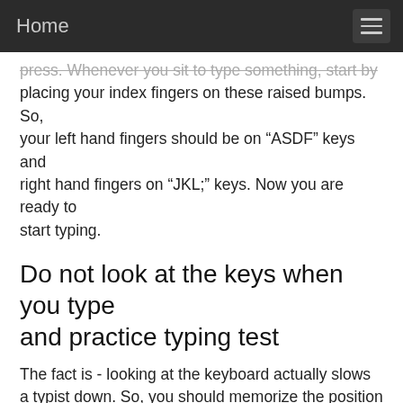Home
press. Whenever you sit to type something, start by placing your index fingers on these raised bumps. So, your left hand fingers should be on “ASDF” keys and right hand fingers on “JKL;” keys. Now you are ready to start typing.
Do not look at the keys when you type and practice typing test
The fact is - looking at the keyboard actually slows a typist down. So, you should memorize the position of each key. When you start practicing, you may make mistakes. But it is OK. No one became an expert typist without making mistakes.
Just remember that the more you practice, the better your fingers will automatically be able to find the right key and press it without your conscious effort. This way your muscle memory will grow.